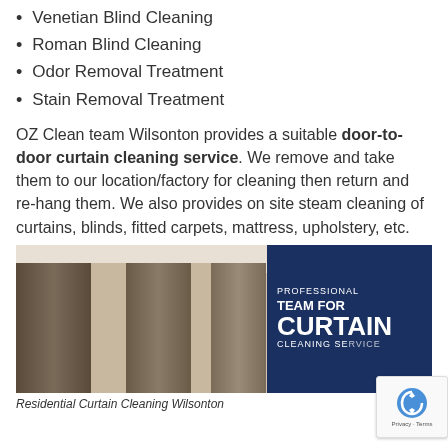Venetian Blind Cleaning
Roman Blind Cleaning
Odor Removal Treatment
Stain Removal Treatment
OZ Clean team Wilsonton provides a suitable door-to-door curtain cleaning service. We remove and take them to our location/factory for cleaning then return and re-hang them. We also provides on site steam cleaning of curtains, blinds, fitted carpets, mattress, upholstery, etc.
[Figure (photo): Residential curtain cleaning photo showing room with dark hanging curtains, overlaid with a blue promotional banner reading PROFESSIONAL TEAM FOR CURTAIN CLEANING SERVICE]
Residential Curtain Cleaning Wilsonton